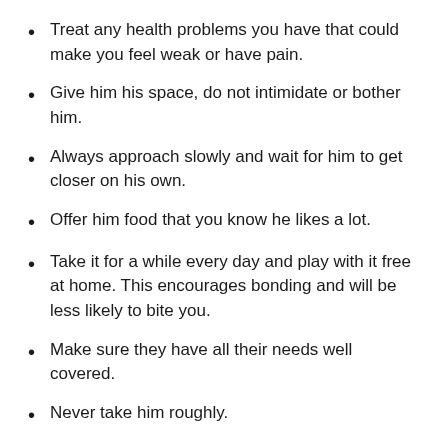Treat any health problems you have that could make you feel weak or have pain.
Give him his space, do not intimidate or bother him.
Always approach slowly and wait for him to get closer on his own.
Offer him food that you know he likes a lot.
Take it for a while every day and play with it free at home. This encourages bonding and will be less likely to bite you.
Make sure they have all their needs well covered.
Never take him roughly.
Regarding the latter, remember to let your rabbit out of the cage for at least one hour a day to exercise and expend accumulated energy. If it accumulates a lot and is always